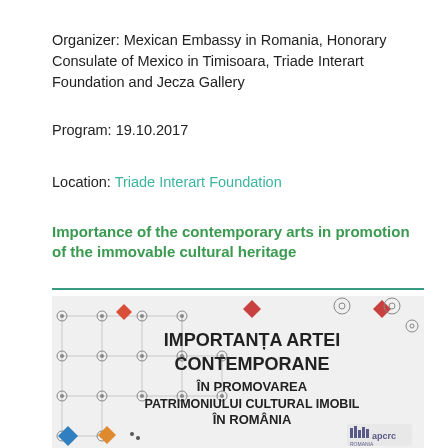Organizer: Mexican Embassy in Romania, Honorary Consulate of Mexico in Timisoara, Triade Interart Foundation and Jecza Gallery
Program: 19.10.2017
Location: Triade Interart Foundation
Importance of the contemporary arts in promotion of the immovable cultural heritage
[Figure (illustration): Poster for the event 'Importanta Artei Contemporane in Promovarea Patrimoniului Cultural Imobil in Romania' with geometric network diagram on left and apcrc logo at bottom right.]